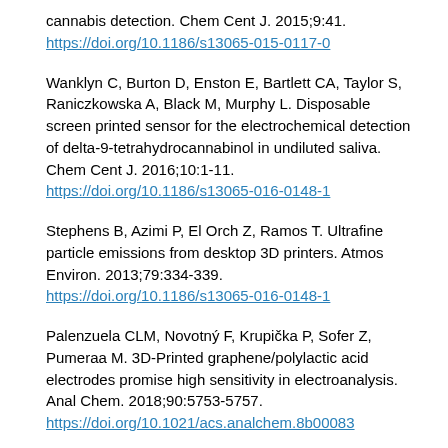cannabis detection. Chem Cent J. 2015;9:41. https://doi.org/10.1186/s13065-015-0117-0
Wanklyn C, Burton D, Enston E, Bartlett CA, Taylor S, Raniczkowska A, Black M, Murphy L. Disposable screen printed sensor for the electrochemical detection of delta-9-tetrahydrocannabinol in undiluted saliva. Chem Cent J. 2016;10:1-11. https://doi.org/10.1186/s13065-016-0148-1
Stephens B, Azimi P, El Orch Z, Ramos T. Ultrafine particle emissions from desktop 3D printers. Atmos Environ. 2013;79:334-339. https://doi.org/10.1186/s13065-016-0148-1
Palenzuela CLM, Novotný F, Krupička P, Sofer Z, Pumeraa M. 3D-Printed graphene/polylactic acid electrodes promise high sensitivity in electroanalysis. Anal Chem. 2018;90:5753-5757. https://doi.org/10.1021/acs.analchem.8b00083
Júnior PCG, Santos VB, Lopes AS, Souza JPI, Pina JRS, Junior